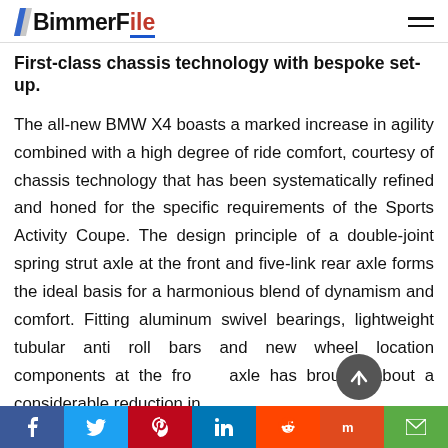BimmerFile
First-class chassis technology with bespoke set-up.
The all-new BMW X4 boasts a marked increase in agility combined with a high degree of ride comfort, courtesy of chassis technology that has been systematically refined and honed for the specific requirements of the Sports Activity Coupe. The design principle of a double-joint spring strut axle at the front and five-link rear axle forms the ideal basis for a harmonious blend of dynamism and comfort. Fitting aluminum swivel bearings, lightweight tubular anti roll bars and new wheel location components at the front axle has brought about a considerable reduction in unsprung masses. Standard specification for the all-new BMW X4...